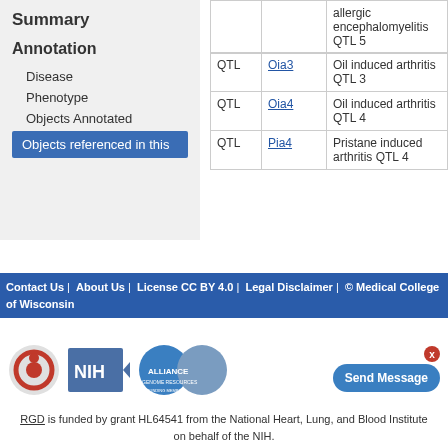Summary
Annotation
Disease
Phenotype
Objects Annotated
Objects referenced in this
| Type | Symbol | Name |
| --- | --- | --- |
| QTL | Oia3 | Oil induced arthritis QTL 3 |
| QTL | Oia4 | Oil induced arthritis QTL 4 |
| QTL | Pia4 | Pristane induced arthritis QTL 4 |
Contact Us | About Us | License CC BY 4.0 | Legal Disclaimer | © Medical College of Wisconsin
RGD is funded by grant HL64541 from the National Heart, Lung, and Blood Institute on behalf of the NIH.